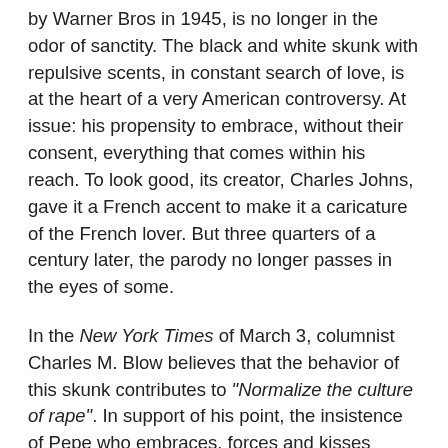by Warner Bros in 1945, is no longer in the odor of sanctity. The black and white skunk with repulsive scents, in constant search of love, is at the heart of a very American controversy. At issue: his propensity to embrace, without their consent, everything that comes within his reach. To look good, its creator, Charles Johns, gave it a French accent to make it a caricature of the French lover. But three quarters of a century later, the parody no longer passes in the eyes of some.
In the New York Times of March 3, columnist Charles M. Blow believes that the behavior of this skunk contributes to "Normalize the culture of rape". In support of his point, the insistence of Pepe who embraces, forces and kisses Penelope, a black cat who has fallen into a pot of white paint, while the girl desperately tries to escape. "Conservative blogs are angry with me because I said that Pépé le Putois participated in the culture of rape. Let's see in this video ... He grabs and kisses a girl he doesn't know, repeatedly,